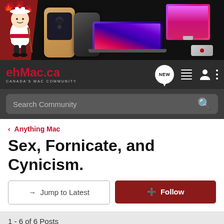[Figure (screenshot): ehMac.ca banner ad showing Apple products (iPhone, MacBook, iMac) on dark background with Canadian mascot]
ehMac.ca CANADA'S MAC COMMUNITY
Search Community
< Anything Mac
Sex, Fornicate, and Cynicism.
→ Jump to Latest
+ Follow
1 - 6 of 6 Posts
Chealion · Premium Member 🍁
Joined Jan 16, 2001 · 7,066 Posts